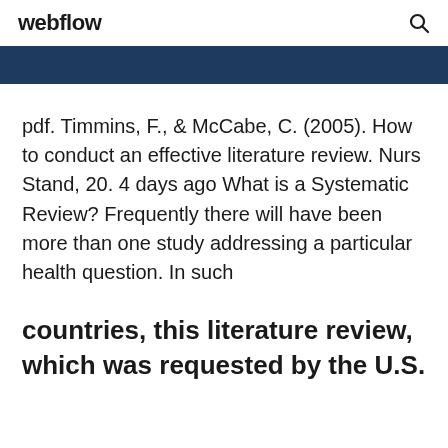webflow
pdf. Timmins, F., & McCabe, C. (2005). How to conduct an effective literature review. Nurs Stand, 20. 4 days ago What is a Systematic Review? Frequently there will have been more than one study addressing a particular health question. In such
countries, this literature review, which was requested by the U.S.